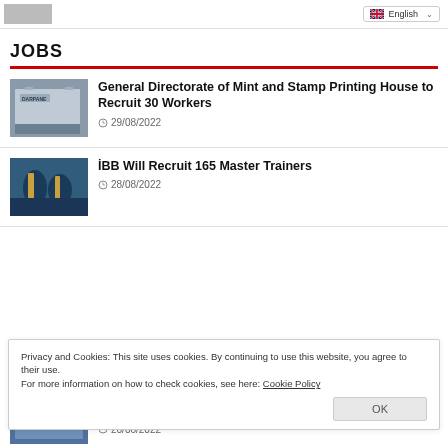English (language selector)
JOBS
[Figure (photo): Building with DARPANE signage]
General Directorate of Mint and Stamp Printing House to Recruit 30 Workers
29/08/2022
[Figure (photo): Two workers in blue uniforms working with equipment]
İBB Will Recruit 165 Master Trainers
28/08/2022
Privacy and Cookies: This site uses cookies. By continuing to use this website, you agree to their use.
For more information on how to check cookies, see here: Cookie Policy
26/08/2022